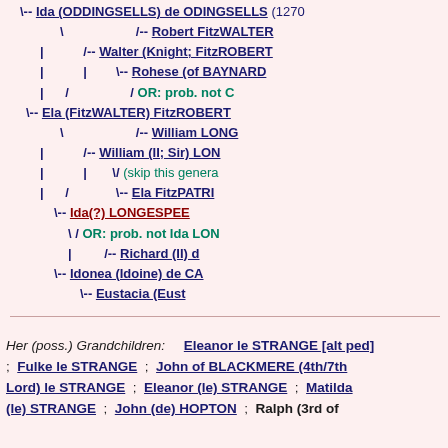[Figure (other): Genealogical tree diagram showing ancestors: Ida (ODDINGSELLS) de ODINGSELLS (1270), Robert FitzWALTER, Walter (Knight; FitzROBERT), Rohese (of BAYNARD), OR: prob. not C..., Ela (FitzWALTER) FitzROBERT, William LONG..., William (II; Sir) LON..., (skip this genera...), Ela FitzPATRI..., Ida(?) LONGESPEE, OR: prob. not Ida LON..., Richard (II) d..., Idonea (Idoine) de CA..., Eustacia (Eust...]
Her (poss.) Grandchildren: Eleanor le STRANGE [alt ped] ; Fulke le STRANGE ; John of BLACKMERE (4th/7th Lord) le STRANGE ; Eleanor (le) STRANGE ; Matilda (le) STRANGE ; John (de) HOPTON ; Ralph (3rd of